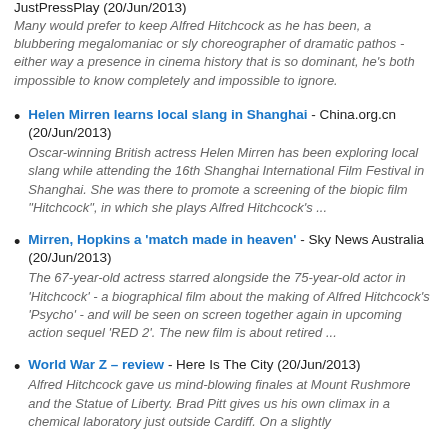JustPressPlay (20/Jun/2013)
Many would prefer to keep Alfred Hitchcock as he has been, a blubbering megalomaniac or sly choreographer of dramatic pathos - either way a presence in cinema history that is so dominant, he's both impossible to know completely and impossible to ignore.
Helen Mirren learns local slang in Shanghai - China.org.cn (20/Jun/2013)
Oscar-winning British actress Helen Mirren has been exploring local slang while attending the 16th Shanghai International Film Festival in Shanghai. She was there to promote a screening of the biopic film "Hitchcock", in which she plays Alfred Hitchcock's ...
Mirren, Hopkins a 'match made in heaven' - Sky News Australia (20/Jun/2013)
The 67-year-old actress starred alongside the 75-year-old actor in 'Hitchcock' - a biographical film about the making of Alfred Hitchcock's 'Psycho' - and will be seen on screen together again in upcoming action sequel 'RED 2'. The new film is about retired ...
World War Z – review - Here Is The City (20/Jun/2013)
Alfred Hitchcock gave us mind-blowing finales at Mount Rushmore and the Statue of Liberty. Brad Pitt gives us his own climax in a chemical laboratory just outside Cardiff. On a slightly